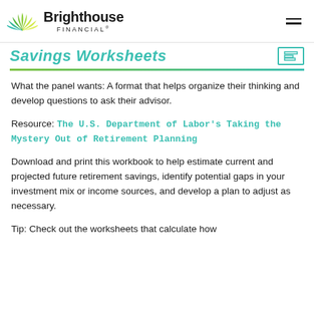Brighthouse Financial
Savings Worksheets
What the panel wants: A format that helps organize their thinking and develop questions to ask their advisor.
Resource: The U.S. Department of Labor's Taking the Mystery Out of Retirement Planning
Download and print this workbook to help estimate current and projected future retirement savings, identify potential gaps in your investment mix or income sources, and develop a plan to adjust as necessary.
Tip: Check out the worksheets that calculate how